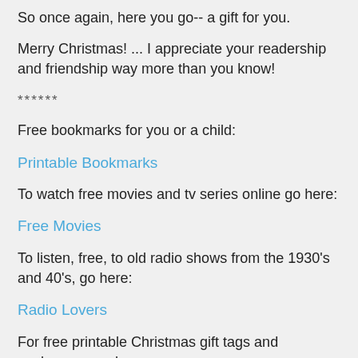So once again, here you go-- a gift for you.
Merry Christmas! ... I appreciate your readership and friendship way more than you know!
******
Free bookmarks for you or a child:
Printable Bookmarks
To watch free movies and tv series online go here:
Free Movies
To listen, free, to old radio shows from the 1930's and 40's, go here:
Radio Lovers
For free printable Christmas gift tags and enclosures, go here: